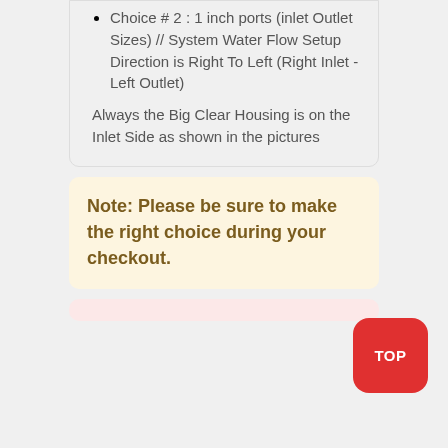Choice # 2 : 1 inch ports (inlet Outlet Sizes) // System Water Flow Setup Direction is Right To Left (Right Inlet - Left Outlet)
Always the Big Clear Housing is on the Inlet Side as shown in the pictures
Note: Please be sure to make the right choice during your checkout.